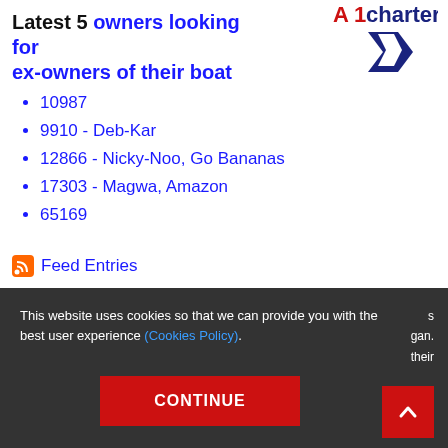[Figure (logo): A1Charter logo with red and blue text and a blue arrow/chevron graphic]
Latest 5 owners looking for ex-owners of their boat
10987
9910 - Deb-Kar
12866 - Nicky-Noo, Go Bananas
17303 - Magwa, Amazon
65169
Feed Entries
This website uses cookies so that we can provide you with the best user experience (Cookies Policy).
CONTINUE